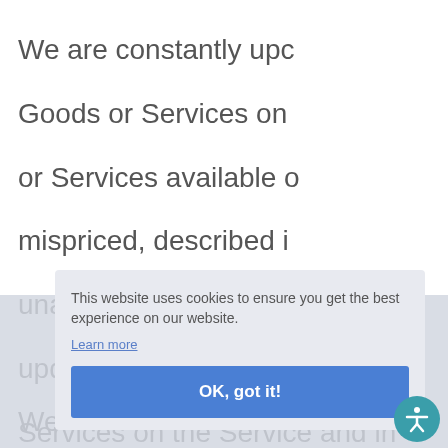We are constantly updating Goods or Services on the Service. or Services available on the Service may be mispriced, described inaccurately, or unavailable, and We may experience delays in updating information regarding Goods or Services on the Service and in Our advertising on other websites.
We cannot and do not guarantee the accuracy or completeness of any information, including prices, product images, specifications, availability, and services. We reserve the right to change or update information and to correct
[Figure (screenshot): Cookie consent modal overlay with text 'This website uses cookies to ensure you get the best experience on our website.', a 'Learn more' link, and an 'OK, got it!' button. An accessibility icon (person in circle) is visible in the bottom-right corner.]